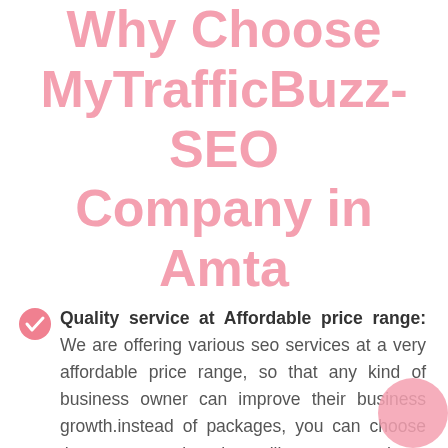Why Choose MyTrafficBuzz- SEO Company in Amta
Quality service at Affordable price range: We are offering various seo services at a very affordable price range, so that any kind of business owner can improve their business growth.instead of packages, you can choose the exact service that will save your huge money.
Free Consultations and recommendations: With our all services we offer free consultations so that we can understand your goals and expectations easily. And based on our issues we will offer you the best solution